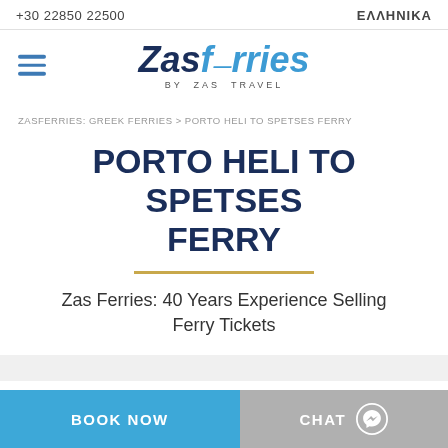+30 22850 22500   ΕΛΛΗΝΙΚΑ
[Figure (logo): ZasFerries by ZAS TRAVEL logo with hamburger menu icon]
ZASFERRIES: GREEK FERRIES > PORTO HELI TO SPETSES FERRY
PORTO HELI TO SPETSES FERRY
Zas Ferries: 40 Years Experience Selling Ferry Tickets